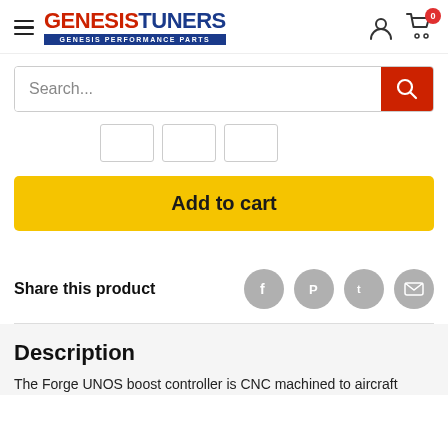[Figure (logo): GenesisT uners logo with red GENESIS and blue TUNERS text and GENESIS PERFORMANCE PARTS subtitle on blue bar]
Search...
[Figure (other): Three small thumbnail images in a row]
Add to cart
Share this product
Description
The Forge UNOS boost controller is CNC machined to aircraft